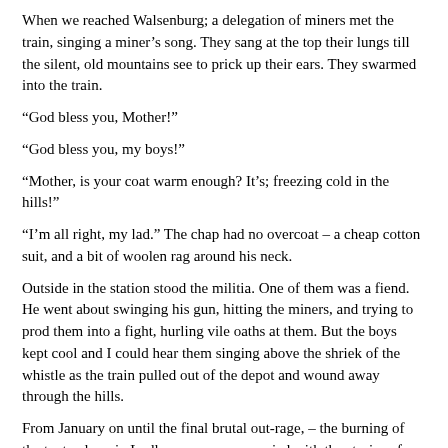When we reached Walsenburg; a delegation of miners met the train, singing a miner’s song. They sang at the top their lungs till the silent, old mountains see to prick up their ears. They swarmed into the train.
“God bless you, Mother!”
“God bless you, my boys!”
“Mother, is your coat warm enough? It’s; freezing cold in the hills!”
“I’m all right, my lad.” The chap had no overcoat – a cheap cotton suit, and a bit of woolen rag around his neck.
Outside in the station stood the militia. One of them was a fiend. He went about swinging his gun, hitting the miners, and trying to prod them into a fight, hurling vile oaths at them. But the boys kept cool and I could hear them singing above the shriek of the whistle as the train pulled out of the depot and wound away through the hills.
From January on until the final brutal out-rage, – the burning of the tent colony in Ludlow – my ears wearied with the stories of brutality and suffering. My eyes ached with the misery I witnessed. My brain sickened with the knowledge of man’s inhumanity to